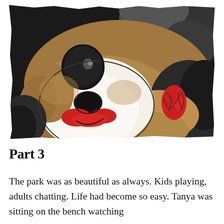[Figure (illustration): Watercolor and ink illustration of a panda bear lying on its back, looking up at the viewer with a playful expression. The panda has brown and white fur with black eye patches, a smiling face with red cheeks/lips, and black paws. The background is dark gray/black with loose brushwork. The illustration has a roughly rectangular border with a black frame.]
Part 3
The park was as beautiful as always. Kids playing, adults chatting. Life had become so easy. Tanya was sitting on the bench watching